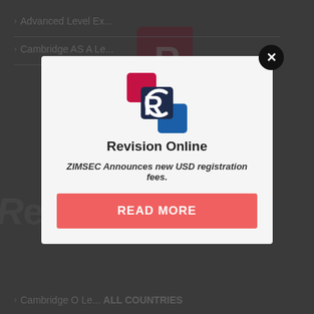> Advanced Level Ex...
> Cambridge AS A Le...
Revision Online
> Cambridge O Le... ALL COUNTRIES
> Cu...
> Computer Science
> English Language Notes
> English Register
[Figure (screenshot): Revision Online website with popup modal overlay showing ZIMSEC announcement]
ZIMSEC Announces new USD registration fees.
READ MORE